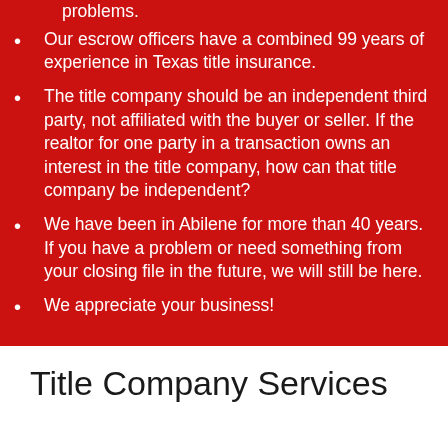problems.
Our escrow officers have a combined 99 years of experience in Texas title insurance.
The title company should be an independent third party, not affiliated with the buyer or seller. If the realtor for one party in a transaction owns an interest in the title company, how can that title company be independent?
We have been in Abilene for more than 40 years. If you have a problem or need something from your closing file in the future, we will still be here.
We appreciate your business!
Title Company Services